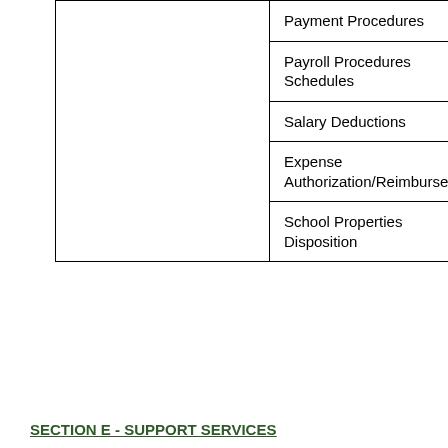|  | Payment Procedures |
|  | Payroll Procedures Schedules |
|  | Salary Deductions |
|  | Expense Authorization/Reimbursement |
|  | School Properties Disposition |
SECTION E - SUPPORT SERVICES